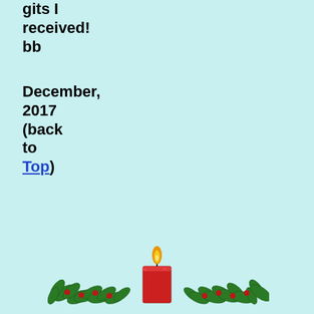gits I received! bb
December, 2017 (back to Top)
[Figure (illustration): Christmas candle with holly decoration - a red candle with yellow flame surrounded by green holly leaves and red berries]
Hello Friends of Immanuel
Ready … or Not ? ! For the first time